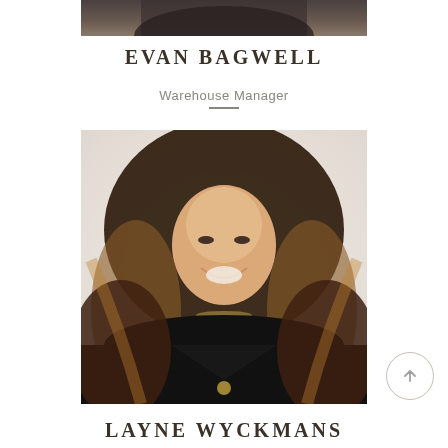[Figure (photo): Partial top portion of a person's photo, showing dark clothing against a light background — cropped at top of page]
EVAN BAGWELL
Warehouse Manager
[Figure (photo): Professional headshot of a young woman with long dark brown highlighted hair, smiling, wearing a black v-neck top and gold necklace, against a light background]
LAYNE WYCKMANS